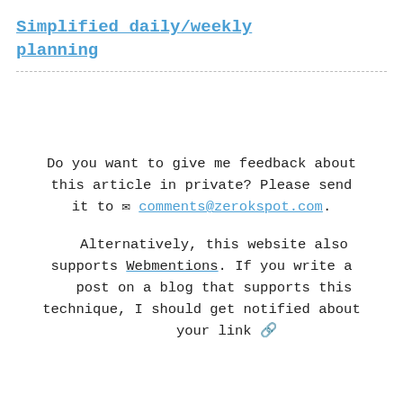Simplified daily/weekly planning
Do you want to give me feedback about this article in private? Please send it to ✉ comments@zerokspot.com.
Alternatively, this website also supports Webmentions. If you write a post on a blog that supports this technique, I should get notified about your link 🔗